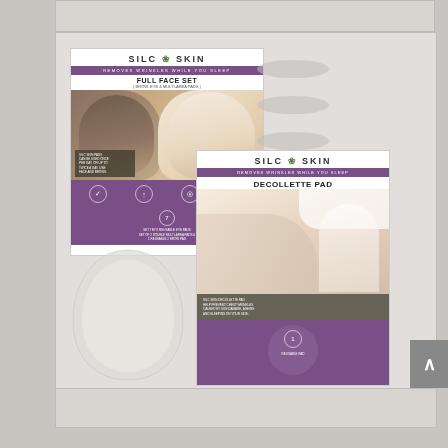[Figure (photo): Two SilcSkin product packages displayed against a light gray background. Left package is the Full Face Set (Brow, Eye & Multi-Area Pads) featuring a man and woman's faces. Right package is the Decollette Pad featuring a woman's décolletage. A large translucent silicone pad shape is visible in front of the bottom-left area. A scroll-up arrow button is visible at the right edge.]